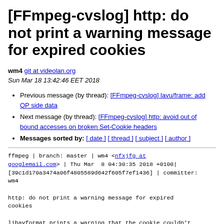[FFmpeg-cvslog] http: do not print a warning message for expired cookies
wm4 git at videolan.org
Sun Mar 18 13:42:46 EET 2018
Previous message (by thread): [FFmpeg-cvslog] lavu/frame: add QP side data
Next message (by thread): [FFmpeg-cvslog] http: avoid out of bound accesses on broken Set-Cookie headers
Messages sorted by: [ date ] [ thread ] [ subject ] [ author ]
ffmpeg | branch: master | wm4 <nfxjfg at googlemail.com> | Thu Mar  8 04:30:35 2018 +0100|
[39c1d170a3474a06f4805589d642f605f7ef1436] | committer: wm4

http: do not print a warning message for expired
cookies

libavformat prints a warning that the cookie couldn't